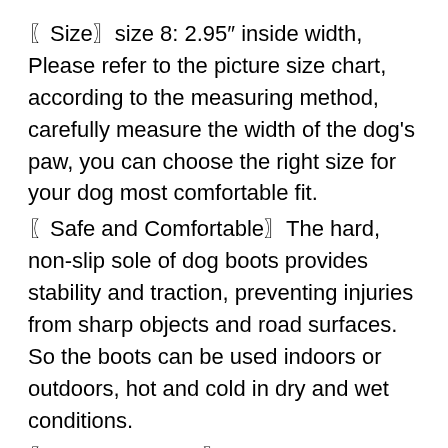〖Size〗size 8: 2.95″ inside width, Please refer to the picture size chart, according to the measuring method, carefully measure the width of the dog's paw, you can choose the right size for your dog most comfortable fit.
〖Safe and Comfortable〗The hard, non-slip sole of dog boots provides stability and traction, preventing injuries from sharp objects and road surfaces. So the boots can be used indoors or outdoors, hot and cold in dry and wet conditions.
〖Quality Material〗This boots are made of High-quality nine-hole mesh, It is very breathable, resistant to bending, light, wear-resistant, flexible, and has a good perspiration wicking effect and good heat dissipation effect.